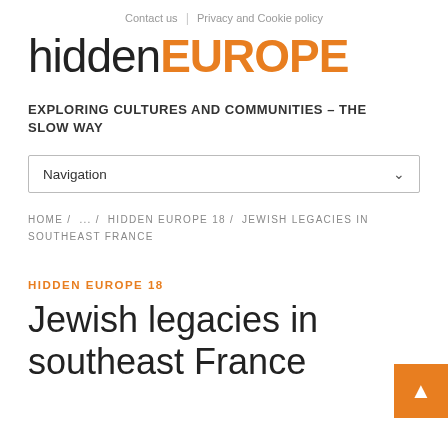Contact us  |  Privacy and Cookie policy
hiddenEUROPE
EXPLORING CULTURES AND COMMUNITIES – THE SLOW WAY
Navigation
HOME / ... / HIDDEN EUROPE 18 / JEWISH LEGACIES IN SOUTHEAST FRANCE
HIDDEN EUROPE 18
Jewish legacies in southeast France